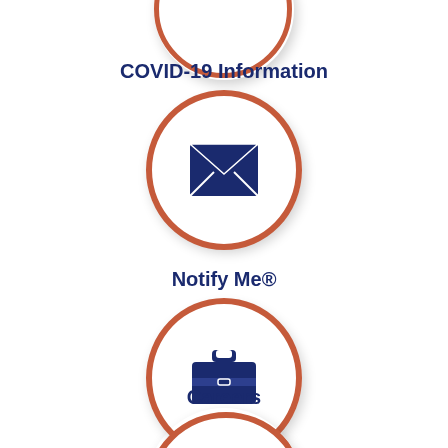[Figure (infographic): Partial circle icon at top (cropped) with rust/orange border]
COVID-19 Information
[Figure (infographic): Circle icon with rust/orange border containing a dark navy envelope/mail icon]
Notify Me®
[Figure (infographic): Circle icon with rust/orange border containing a dark navy briefcase icon]
Careers
[Figure (infographic): Partial circle icon at bottom (cropped) with rust/orange border containing a partial navy icon]